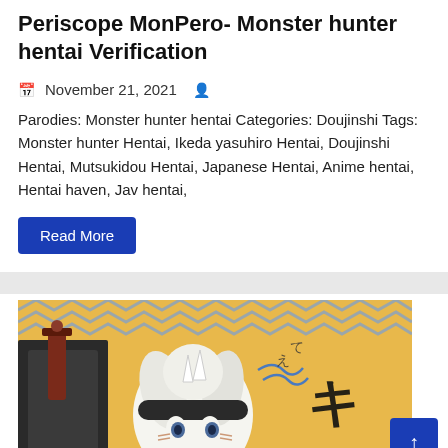Periscope MonPerо- Monster hunter hentai Verification
November 21, 2021
Parodies: Monster hunter hentai Categories: Doujinshi Tags: Monster hunter Hentai, Ikeda yasuhiro Hentai, Doujinshi Hentai, Mutsukidou Hentai, Japanese Hentai, Anime hentai, Hentai haven, Jav hentai,
Read More
[Figure (illustration): Anime/manga style illustration showing a white-haired female character in armored costume with Japanese text characters, against an orange/yellow and blue geometric patterned background]